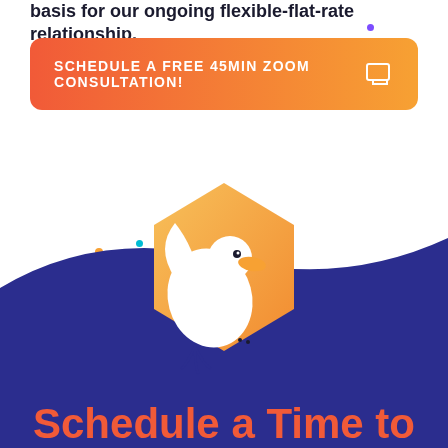basis for our ongoing flexible-flat-rate relationship.
SCHEDULE A FREE 45MIN ZOOM CONSULTATION!
[Figure (illustration): Decorative illustration with a dark navy wave background at the bottom, a golden hexagon shape in the center, and a white bird/duck mascot (Scrivener-style logo) perched on it. Multiple colorful decorative dots scattered around the page.]
Schedule a Time to